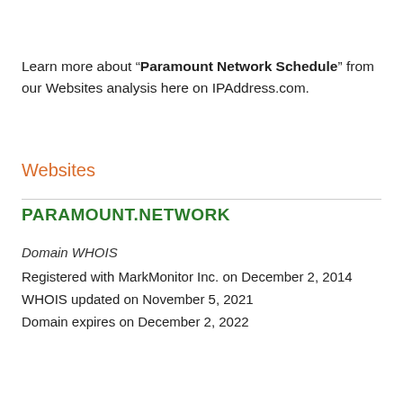Learn more about “Paramount Network Schedule” from our Websites analysis here on IPAddress.com.
Websites
PARAMOUNT.NETWORK
Domain WHOIS
Registered with MarkMonitor Inc. on December 2, 2014
WHOIS updated on November 5, 2021
Domain expires on December 2, 2022